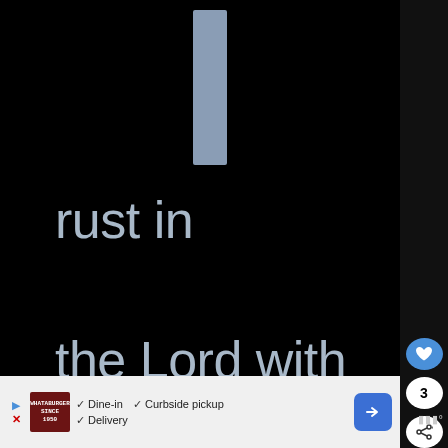[Figure (screenshot): Black background with a blinking text cursor bar (grayish-blue rectangle) at the top center, and large light gray/blue text reading 'rust in the Lord with all your heart, and do not' on a dark background. Right side panel shows heart/like button, count '3', and share button. Bottom shows an advertisement bar.]
rust in the Lord with all your heart, and do not
3
✓ Dine-in  ✓ Curbside pickup
✓ Delivery